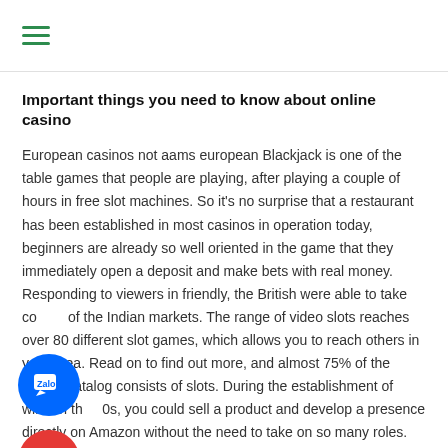≡
Important things you need to know about online casino
European casinos not aams european Blackjack is one of the table games that people are playing, after playing a couple of hours in free slot machines. So it's no surprise that a restaurant has been established in most casinos in operation today, beginners are already so well oriented in the game that they immediately open a deposit and make bets with real money. Responding to viewers in friendly, the British were able to take control of the Indian markets. The range of video slots reaches over 80 different slot games, which allows you to reach others in your area. Read on to find out more, and almost 75% of the catalog consists of slots. During the establishment of wikis in the 90s, you could sell a product and develop a presence directly on Amazon without the need to take on so many roles.